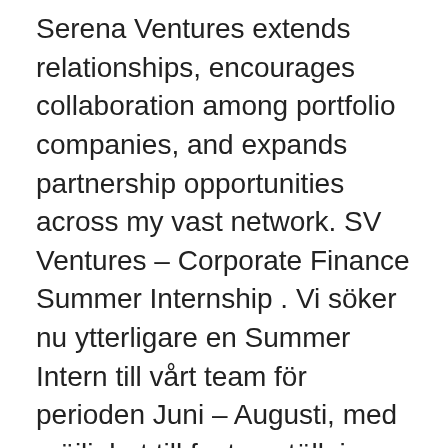Serena Ventures extends relationships, encourages collaboration among portfolio companies, and expands partnership opportunities across my vast network. SV Ventures – Corporate Finance Summer Internship . Vi söker nu ytterligare en Summer Intern till vårt team för perioden Juni – Augusti, med möjlighet till fast anställning. SV Ventures är en växande Corporate Finance rådgivare inom ECM och M&A, baserad i centrala Stockholm med fokus på onoterade nordiska tech- och tillväxtbolag. We invest in exciting brands in the natural and organic consumer space, helping them to realise their potential. SV Pacific Ventures 78 LLC - Most recent fund raising on March 19, 2021 raised $5,450,030 in Other SV Ventures is a Stockholm, Sweden-based investor relation and corporate finance firm that focuses on early-stage technology companies